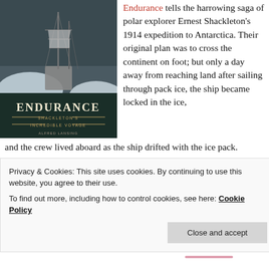[Figure (photo): Book cover of 'Endurance: Shackleton's Incredible Voyage' showing a tall sailing ship trapped in ice, with the title in large white letters on a dark green/black background and gold subtitle text.]
Endurance tells the harrowing saga of polar explorer Ernest Shackleton's 1914 expedition to Antarctica. Their original plan was to cross the continent on foot; but only a day away from reaching land after sailing through pack ice, the ship became locked in the ice, and the crew lived aboard as the ship drifted with the ice pack.
Privacy & Cookies: This site uses cookies. By continuing to use this website, you agree to their use.
To find out more, including how to control cookies, see here: Cookie Policy
Close and accept